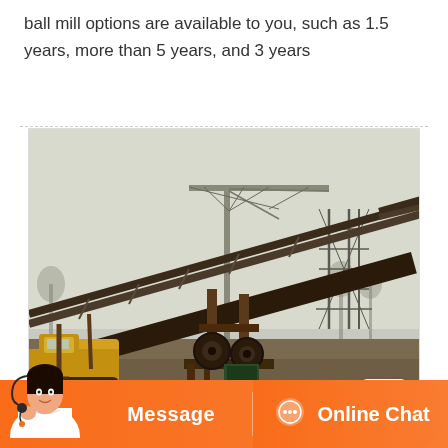ball mill options are available to you, such as 1.5 years, more than 5 years, and 3 years
[Figure (photo): Outdoor industrial site showing a large inclined conveyor belt system supported by metal frame structures, with a tower crane and electrical transmission tower visible in the misty background. Yellow construction machinery visible on the left. Gravel and muddy ground in the foreground.]
Message
Online Chat